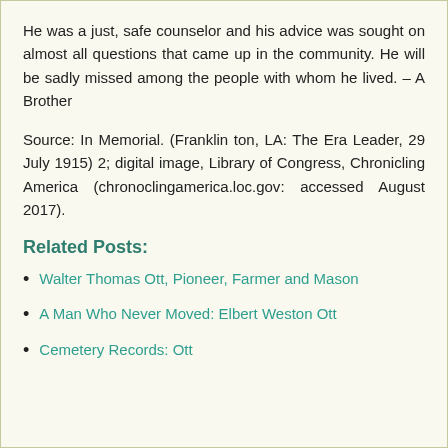He was a just, safe counselor and his advice was sought on almost all questions that came up in the community. He will be sadly missed among the people with whom he lived. – A Brother
Source: In Memorial. (Franklin ton, LA: The Era Leader, 29 July 1915) 2; digital image, Library of Congress, Chronicling America (chronoclingamerica.loc.gov: accessed August 2017).
Related Posts:
Walter Thomas Ott, Pioneer, Farmer and Mason
A Man Who Never Moved: Elbert Weston Ott
Cemetery Records: Ott